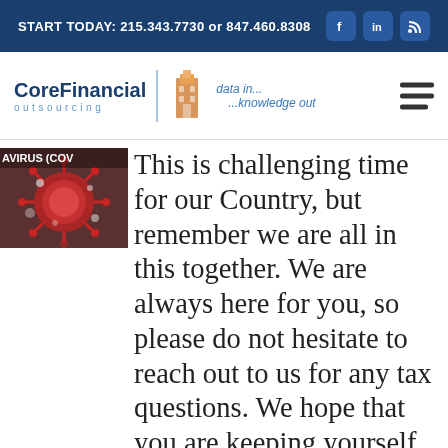START TODAY: 215.343.7730 or 847.460.8308
[Figure (logo): Core Financial Outsourcing logo with tagline 'data in... ...knowledge out']
[Figure (photo): Coronavirus (COVID) image thumbnail with 'AVIRUS (COV' text visible]
This is challenging time for our Country, but remember we are all in this together. We are always here for you, so please do not hesitate to reach out to us for any tax questions. We hope that you are keeping yourself, your loved ones, and your community safe from COVID-